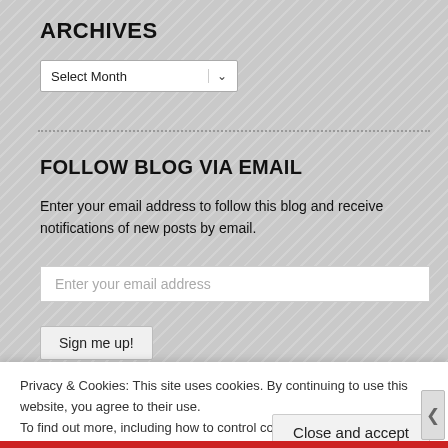ARCHIVES
[Figure (screenshot): Select Month dropdown widget]
FOLLOW BLOG VIA EMAIL
Enter your email address to follow this blog and receive notifications of new posts by email.
[Figure (screenshot): Email address input field with placeholder text 'Enter your email address']
[Figure (screenshot): Sign me up! button]
Privacy & Cookies: This site uses cookies. By continuing to use this website, you agree to their use.
To find out more, including how to control cookies, see here: Cookie Policy
Close and accept